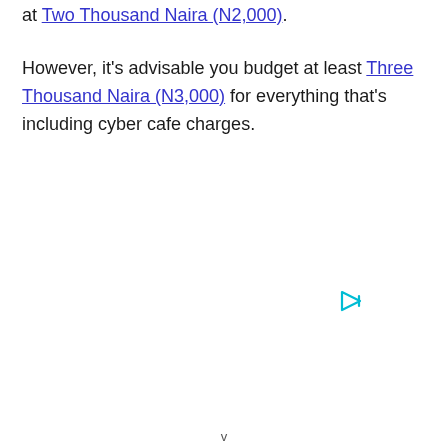at Two Thousand Naira (N2,000).
However, it's advisable you budget at least Three Thousand Naira (N3,000) for everything that's including cyber cafe charges.
[Figure (other): Small cyan/teal play button icon (advertisement marker)]